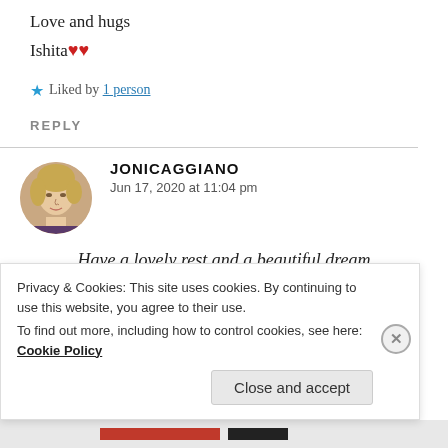Love and hugs
Ishita ❤️❤️
★ Liked by 1 person
REPLY
[Figure (photo): Circular avatar photo of a blonde woman, jonicaggiano]
JONICAGGIANO
Jun 17, 2020 at 11:04 pm
Have a lovely rest and a beautiful dream
Privacy & Cookies: This site uses cookies. By continuing to use this website, you agree to their use.
To find out more, including how to control cookies, see here: Cookie Policy
Close and accept